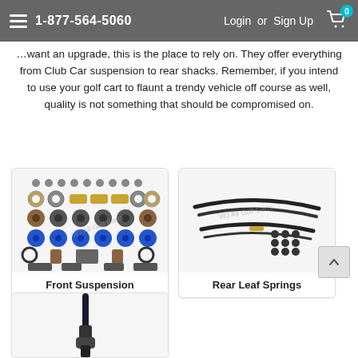1-877-564-5060  Login or Sign Up  0
want an upgrade, this is the place to rely on. They offer everything from Club Car suspension to rear shacks. Remember, if you intend to use your golf cart to flaunt a trendy vehicle off course as well, quality is not something that should be compromised on.
[Figure (photo): Front Suspension parts kit including bushings, bolts, brackets, and hardware on white background]
Front Suspension
[Figure (photo): Rear Leaf Springs showing curved spring leaves and hardware on white background]
Rear Leaf Springs
[Figure (photo): Partial view of a golf cart part on white background (bottom of page, cropped)]